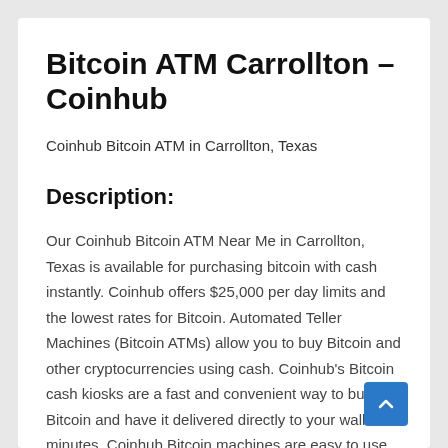Bitcoin ATM Carrollton – Coinhub
Coinhub Bitcoin ATM in Carrollton, Texas
Description:
Our Coinhub Bitcoin ATM Near Me in Carrollton, Texas is available for purchasing bitcoin with cash instantly. Coinhub offers $25,000 per day limits and the lowest rates for Bitcoin. Automated Teller Machines (Bitcoin ATMs) allow you to buy Bitcoin and other cryptocurrencies using cash. Coinhub's Bitcoin cash kiosks are a fast and convenient way to buy Bitcoin and have it delivered directly to your wallet in minutes. Coinhub Bitcoin machines are easy to use and allow